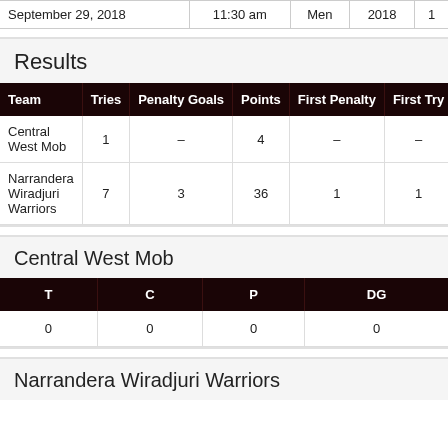| September 29, 2018 | 11:30 am | Men | 2018 | 1 |
| --- | --- | --- | --- | --- |
| September 29, 2018 | 11:30 am | Men | 2018 | 1 |
Results
| Team | Tries | Penalty Goals | Points | First Penalty | First Try |
| --- | --- | --- | --- | --- | --- |
| Central West Mob | 1 | – | 4 | – | – |
| Narrandera Wiradjuri Warriors | 7 | 3 | 36 | 1 | 1 |
Central West Mob
| T | C | P | DG |
| --- | --- | --- | --- |
| 0 | 0 | 0 | 0 |
Narrandera Wiradjuri Warriors